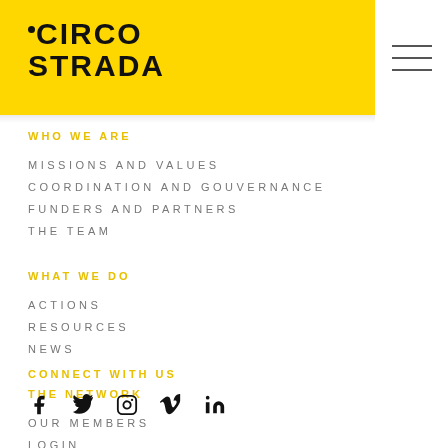CiRCO STRADA
WHO WE ARE
MISSIONS AND VALUES
COORDINATION AND GOUVERNANCE
FUNDERS AND PARTNERS
THE TEAM
WHAT WE DO
ACTIONS
RESOURCES
NEWS
THE NETWORK
OUR MEMBERS
LOGIN
CONNECT WITH US
[Figure (other): Social media icons: Facebook, Twitter, Instagram, Vimeo, LinkedIn]